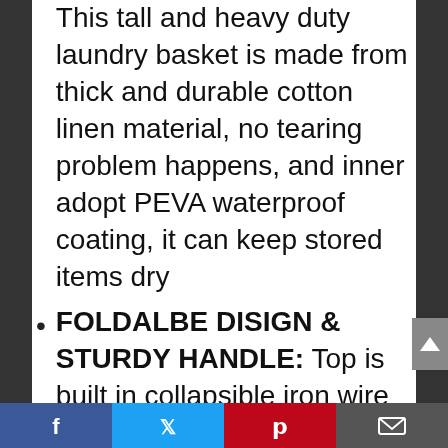This tall and heavy duty laundry basket is made from thick and durable cotton linen material, no tearing problem happens, and inner adopt PEVA waterproof coating, it can keep stored items dry
FOLDALBE DISIGN & STURDY HANDLE: Top is built in collapsible iron wire frame, you can semi-fold it to very small anytime when not in use, easy to storage, save space in travel , two extended and sturdy handles allow you carry it to laundry room
WIDE USE RANGE & 100%